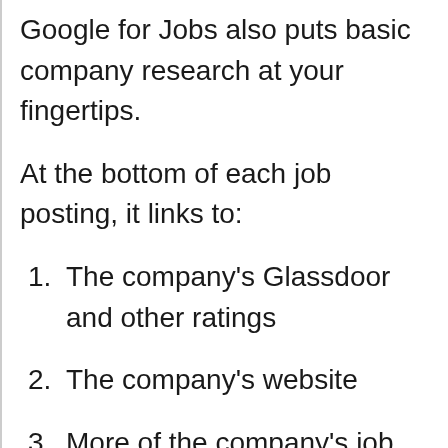Google for Jobs also puts basic company research at your fingertips.
At the bottom of each job posting, it links to:
The company's Glassdoor and other ratings
The company's website
More of the company's job